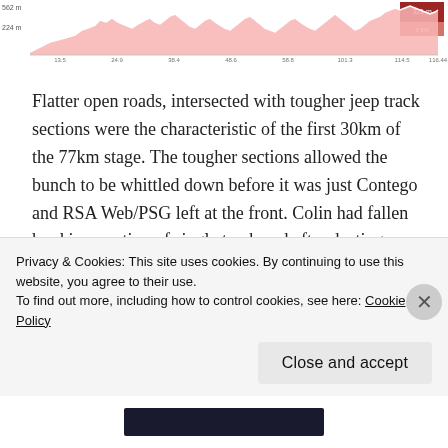[Figure (area-chart): Elevation profile chart with pink shaded area showing terrain over approximately 77km stage distance. White line on pink/red background with axis labels.]
Flatter open roads, intersected with tougher jeep track sections were the characteristic of the first 30km of the 77km stage. The tougher sections allowed the bunch to be whittled down before it was just Contego and RSA Web/PSG left at the front. Colin had fallen hard in a section of single track and after dusting himself off; we set off on a long chase of the youngsters Best and Esterhuyse.
Privacy & Cookies: This site uses cookies. By continuing to use this website, you agree to their use.
To find out more, including how to control cookies, see here: Cookie Policy
Close and accept